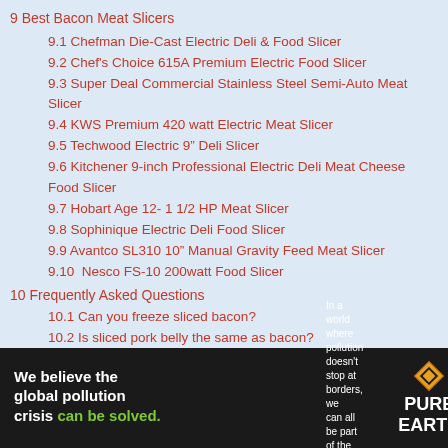9 Best Bacon Meat Slicers
9.1 Chefman Die-Cast Electric Deli & Food Slicer
9.2 Chef's Choice 615A Premium Electric Food Slicer
9.3 Super Deal Commercial Stainless Steel Semi-Auto Meat Slicer
9.4 KWS Premium 420 watt Electric Meat Slicer
9.5 Techwood Electric 9" Deli Slicer
9.6 Kitchener 9-inch Professional Electric Deli Meat Cheese Food Slicer
9.7 Hobart Age 12- 1 1/2 HP Meat Slicer
9.8 Sophinique Electric Deli Food Slicer
9.9 Avantco SL310 10" Manual Gravity Feed Meat Slicer
9.10  Nesco FS-10 200watt Food Slicer
10 Frequently Asked Questions
10.1 Can you freeze sliced bacon?
10.2 Is sliced pork belly the same as bacon?
10.3 Can you slice bacon using a knife?
11 Closing Thoughts
[Figure (infographic): Pure Earth advertisement banner: 'We believe the global pollution crisis can be solved.' with diamond logo and tagline about pollution not stopping at borders.]